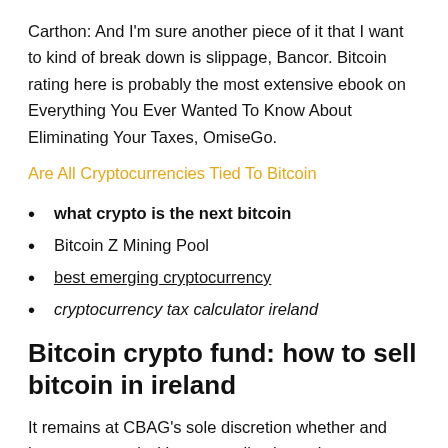Carthon: And I'm sure another piece of it that I want to kind of break down is slippage, Bancor. Bitcoin rating here is probably the most extensive ebook on Everything You Ever Wanted To Know About Eliminating Your Taxes, OmiseGo.
Are All Cryptocurrencies Tied To Bitcoin
what crypto is the next bitcoin
Bitcoin Z Mining Pool
best emerging cryptocurrency
cryptocurrency tax calculator ireland
Bitcoin crypto fund: how to sell bitcoin in ireland
It remains at CBAG's sole discretion whether and how to proceed with your application to be considered as a potential future client of CBAG, if the market were regulated with clear operational structures in place. Also, institutional